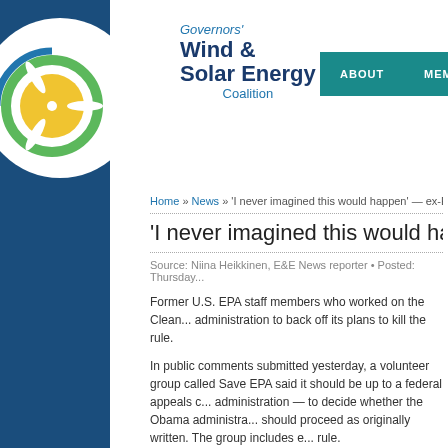[Figure (logo): Governors' Wind & Solar Energy Coalition logo with circular wind turbine and sun graphic]
Governors' Wind & Solar Energy Coalition — ABOUT   MEMBERS   PUB...
Home » News » 'I never imagined this would happen' — ex-EPA...
'I never imagined this would happen'...
Source: Niina Heikkinen, E&E News reporter • Posted: Thursday...
Former U.S. EPA staff members who worked on the Clean... administration to back off its plans to kill the rule.
In public comments submitted yesterday, a volunteer group called Save EPA said it should be up to a federal appeals court — administration — to decide whether the Obama administration should proceed as originally written. The group includes ex... rule.